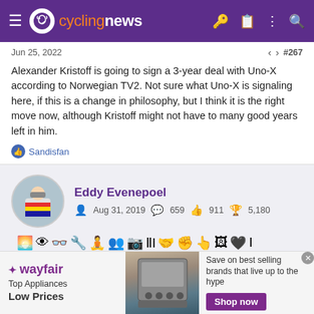cyclingnews
Jun 25, 2022   #267
Alexander Kristoff is going to sign a 3-year deal with Uno-X according to Norwegian TV2. Not sure what Uno-X is signaling here, if this is a change in philosophy, but I think it is the right move now, although Kristoff might not have to many good years left in him.
Sandisfan
Eddy Evenepoel  Aug 31, 2019  659  911  5,180
[Figure (screenshot): User profile card for Eddy Evenepoel with avatar photo, join date Aug 31 2019, message count 659, likes 911, trophy points 5180, and a row of reaction emoji icons]
[Figure (screenshot): Wayfair advertisement banner: Top Appliances Low Prices, image of a stove, Save on best selling brands that live up to the hype, Shop now button]